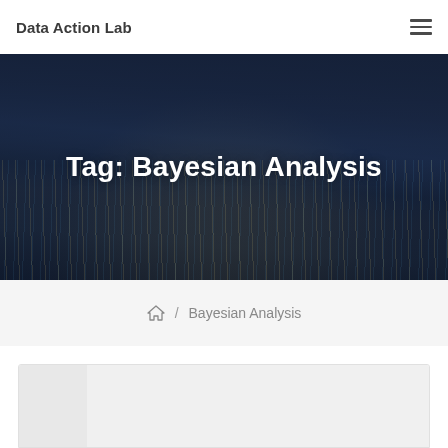Data Action Lab
Tag: Bayesian Analysis
🏠 / Bayesian Analysis